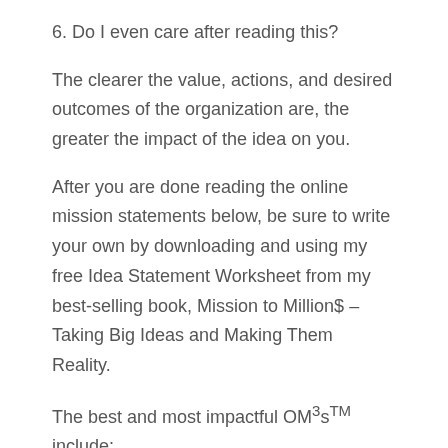6. Do I even care after reading this?
The clearer the value, actions, and desired outcomes of the organization are, the greater the impact of the idea on you.
After you are done reading the online mission statements below, be sure to write your own by downloading and using my free Idea Statement Worksheet from my best-selling book, Mission to Million$ – Taking Big Ideas and Making Them Reality.
The best and most impactful OM³s™ include:
Connecting with you mentally, emotionally,